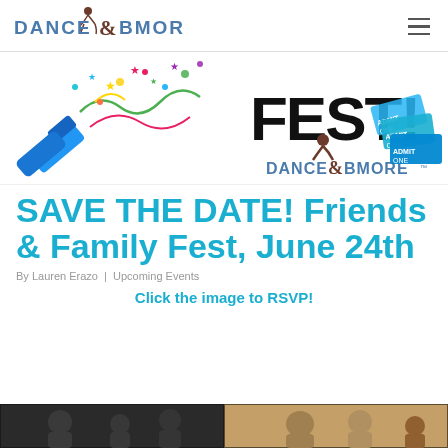DANCE & BMORE
[Figure (illustration): Dance & Bmore Friends & Family Fest promotional banner with colorful confetti/party popper illustration on the left, 'FEST!' text in black bold on the right, Dance & Bmore logo in center, and admission ticket graphics on the right side]
SAVE THE DATE! Friends & Family Fest, June 24th
By Lauren Erazo | Upcoming Events
Click the image to RSVP!
[Figure (photo): Bottom strip showing partial photos of people at an event]